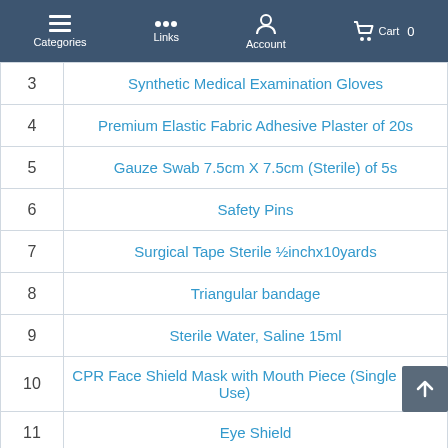Categories  Links  Account  Cart 0
| # | Product Name |
| --- | --- |
| 3 | Synthetic Medical Examination Gloves |
| 4 | Premium Elastic Fabric Adhesive Plaster of 20s |
| 5 | Gauze Swab 7.5cm X 7.5cm (Sterile) of 5s |
| 6 | Safety Pins |
| 7 | Surgical Tape Sterile ½inchx10yards |
| 8 | Triangular bandage |
| 9 | Sterile Water, Saline 15ml |
| 10 | CPR Face Shield Mask with Mouth Piece (Single Use) |
| 11 | Eye Shield |